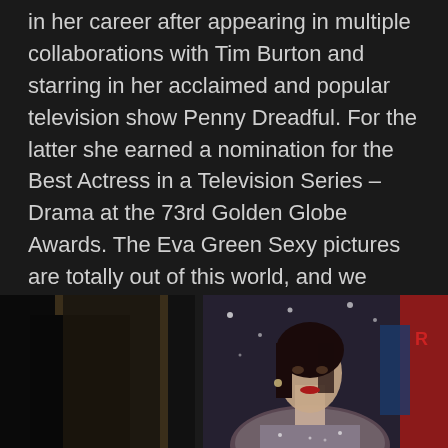in her career after appearing in multiple collaborations with Tim Burton and starring in her acclaimed and popular television show Penny Dreadful. For the latter she earned a nomination for the Best Actress in a Television Series – Drama at the 73rd Golden Globe Awards. The Eva Green Sexy pictures are totally out of this world, and we have the full collection of it below.
2.
[Figure (photo): Two photos side by side: left shows a dark figure near a door, right shows a dark-haired woman with red lips at an event, with a partial movie poster visible on the right edge]